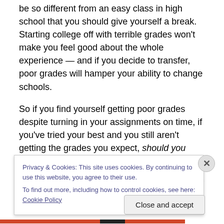be so different from an easy class in high school that you should give yourself a break. Starting college off with terrible grades won't make you feel good about the whole experience — and if you decide to transfer, poor grades will hamper your ability to change schools.
So if you find yourself getting poor grades despite turning in your assignments on time, if you've tried your best and you still aren't getting the grades you expect, should you quit, transfer, or stick it out?
I think quitting should be your last option if the
Privacy & Cookies: This site uses cookies. By continuing to use this website, you agree to their use. To find out more, including how to control cookies, see here: Cookie Policy